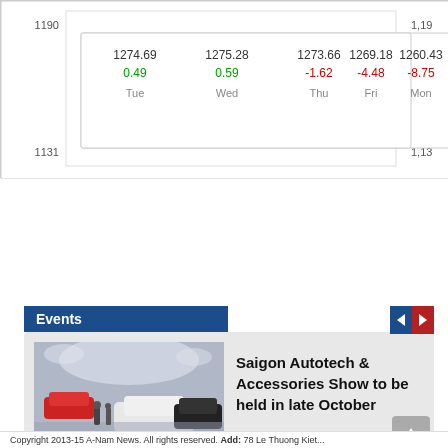[Figure (line-chart): Stock Index]
Events
[Figure (photo): Interior of an auto show with cars on display and visitors walking around]
Saigon Autotech & Accessories Show to be held in late October
Copyright 2013-15 A-Nam News. All rights reserved. Add: 78 Le Thuong Kiet...